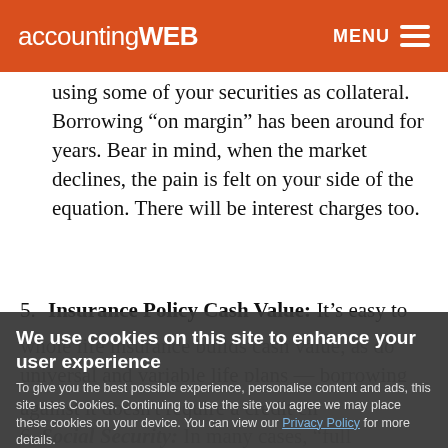accountingWEB  MENU
using some of your securities as collateral. Borrowing “on margin” has been around for years. Bear in mind, when the market declines, the pain is felt on your side of the equation. There will be interest charges too.
5. Insurance Policy Cash Value: It’s easy to forget
We use cookies on this site to enhance your user experience
To give you the best possible experience, personalise content and ads, this site uses Cookies. Continuing to use the site you agree we may place these cookies on your device. You can view our Privacy Policy for more details.
No, give me more info
OK, I agree